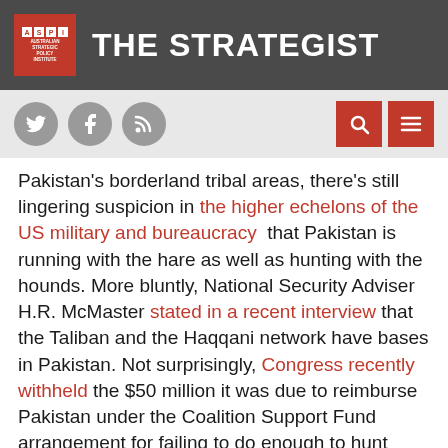THE STRATEGIST
Pakistan’s borderland tribal areas, there’s still lingering suspicion in the higher echelons of the US military and bureaucracy that Pakistan is running with the hare as well as hunting with the hounds. More bluntly, National Security Adviser H.R. McMaster stated in a recent interview that the Taliban and the Haqqani network have bases in Pakistan. Not surprisingly, Congress recently withheld the $50 million it was due to reimburse Pakistan under the Coalition Support Fund arrangement for failing to do enough to hunt down the terrorist groups. Increasingly, officials are wondering what sort of pressure can be put on Pakistan to change its ways. The acting US assistant secretary of state for South and Central Asian affairs and acting special representative for Afghanistan and Pakistan, Ambassador Alice Wells, recently stressed during a visit to the region that Pakistan should not with...